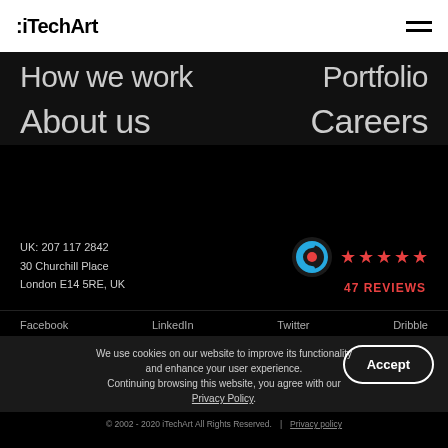:iTechArt
How we work
Portfolio
About us
Careers
UK: 207 117 2842
30 Churchill Place
London E14 5RE, UK
[Figure (logo): Clutch review badge with 5 red stars and text '47 REVIEWS']
Facebook
LinkedIn
Twitter
Dribble
We use cookies on our website to improve its functionality and enhance your user experience. Continuing browsing this website, you agree with our Privacy Policy.
© 2002 - 2020 iTechArt All Rights Reserved. | Privacy policy